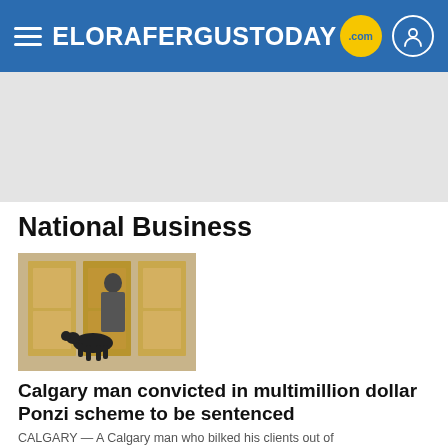ELORAFERGUSTODAY.com
[Figure (photo): Advertisement placeholder area, light grey background]
National Business
[Figure (photo): Photo of a person with a black dog in front of gold ornate doors of a building]
Calgary man convicted in multimillion dollar Ponzi scheme to be sentenced
CALGARY — A Calgary man who bilked his clients out of